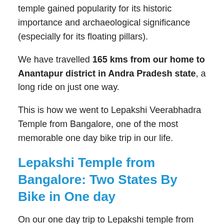temple gained popularity for its historic importance and archaeological significance (especially for its floating pillars).
We have travelled 165 kms from our home to Anantapur district in Andra Pradesh state, a long ride on just one way.
This is how we went to Lepakshi Veerabhadra Temple from Bangalore, one of the most memorable one day bike trip in our life.
Lepakshi Temple from Bangalore: Two States By Bike in One day
On our one day trip to Lepakshi temple from Bangalore, we first visited Nandi hills temple at Doddaballapur. Since we were frequent visitors this Nandhi hills –